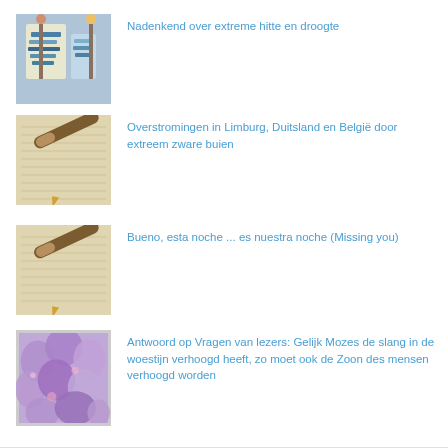[Figure (photo): People holding signs at a protest or demonstration]
Nadenkend over extreme hitte en droogte
[Figure (photo): Fountain pen resting on handwritten letter paper]
Overstromingen in Limburg, Duitsland en België door extreem zware buien
[Figure (photo): Fountain pen resting on handwritten letter paper]
Bueno, esta noche ... es nuestra noche (Missing you)
[Figure (photo): Purple flower petals close-up]
Antwoord op Vragen van lezers: Gelijk Mozes de slang in de woestijn verhoogd heeft, zo moet ook de Zoon des mensen verhoogd worden